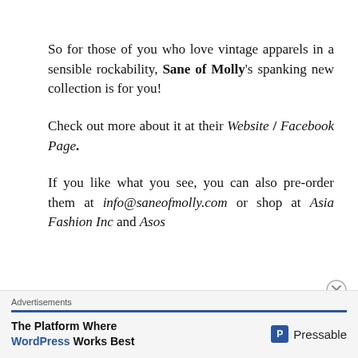So for those of you who love vintage apparels in a sensible rockability, Sane of Molly's spanking new collection is for you!
Check out more about it at their Website | Facebook Page.
If you like what you see, you can also pre-order them at info@saneofmolly.com or shop at Asia Fashion Inc and Asos
Advertisements
The Platform Where WordPress Works Best  Pressable